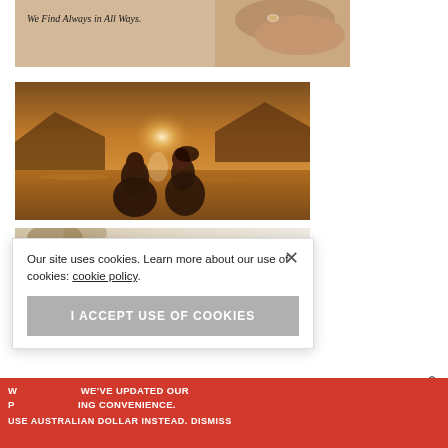[Figure (photo): Top portion of a jewelry advertisement showing hands holding each other with rings, and text 'We Find Always in All Ways.']
[Figure (photo): Two people embracing on a beach at sunset with golden light, silhouetted against the ocean and mountains.]
[Figure (photo): Partial view of another image, trees visible at left on a light/white background.]
Our site uses cookies. Learn more about our use of cookies: cookie policy
I ACCEPT USE OF COOKIES
Scro
WE'VE UPDATED OUR PRIVACY POLICY FOR YOUR BROWSING CONVENIENCE. USE AUSTRALIAN DOLLAR INSTEAD. DISMISS